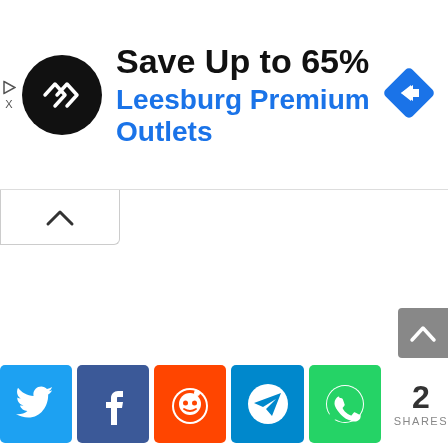[Figure (screenshot): Advertisement banner: black circular logo with double arrow symbol, headline 'Save Up to 65%', subline 'Leesburg Premium Outlets' in blue, blue diamond navigation icon on the right. Ad controls (play and close) on left edge.]
[Figure (screenshot): Collapse/minimize tab button with upward caret (^) below the ad banner.]
[Figure (screenshot): Gray scroll-to-top button with upward caret on the right edge of the page.]
[Figure (infographic): Social share bar with 5 colored buttons: Twitter (blue bird), Facebook (blue f), Reddit (orange alien), Telegram (blue paper plane), WhatsApp (green phone), followed by share count '2 SHARES'.]